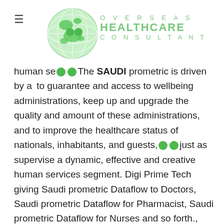Overseas Healthcare Consultant (logo with globe)
human se... The SAUDI prometric is driven by a... to guarantee and access to wellbeing administrations, keep up and upgrade the quality and amount of these administrations, and to improve the healthcare status of nationals, inhabitants, and guests, just as supervise a dynamic, effective and creative human services segment. Digi Prime Tech giving Saudi prometric Dataflow to Doctors, Saudi prometric Dataflow for Pharmacist, Saudi prometric Dataflow for Nurses and so forth., notwithstanding directing Dubai's social insurance division, the SAUDI PROMETRIC likewise centers around giving administrations by means of SAUDI PROMETRIC human services offices